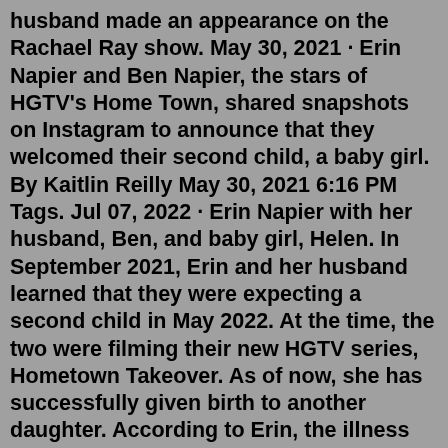husband made an appearance on the Rachael Ray show. May 30, 2021 · Erin Napier and Ben Napier, the stars of HGTV's Home Town, shared snapshots on Instagram to announce that they welcomed their second child, a baby girl. By Kaitlin Reilly May 30, 2021 6:16 PM Tags. Jul 07, 2022 · Erin Napier with her husband, Ben, and baby girl, Helen. In September 2021, Erin and her husband learned that they were expecting a second child in May 2022. At the time, the two were filming their new HGTV series, Hometown Takeover. As of now, she has successfully given birth to another daughter. According to Erin, the illness has become a ... May 23, 2021 · Ben and Erin Napier are well on their way to becoming household names for DIY and design aficionados.. The genesis of their story is the stuff of TV fairy tales. It goes like this: College ... On Wednesday, HGTV's Erin Napier took to Instagram to share a new image of her husband, Ben Napier, and their daughter Helen, 3. In the photo, Ben balanced their daughter on his shoulders as they took a walk. The "Home Town" stars are...